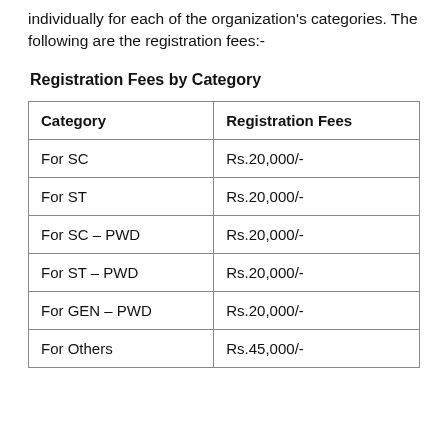individually for each of the organization's categories. The following are the registration fees:-
Registration Fees by Category
| Category | Registration Fees |
| --- | --- |
| For SC | Rs.20,000/- |
| For ST | Rs.20,000/- |
| For SC – PWD | Rs.20,000/- |
| For ST – PWD | Rs.20,000/- |
| For GEN – PWD | Rs.20,000/- |
| For Others | Rs.45,000/- |